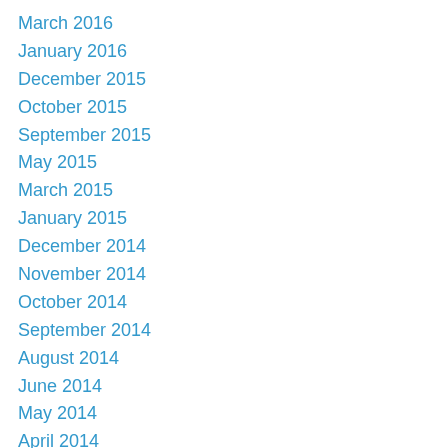March 2016
January 2016
December 2015
October 2015
September 2015
May 2015
March 2015
January 2015
December 2014
November 2014
October 2014
September 2014
August 2014
June 2014
May 2014
April 2014
March 2014
February 2014
January 2014
December 2013